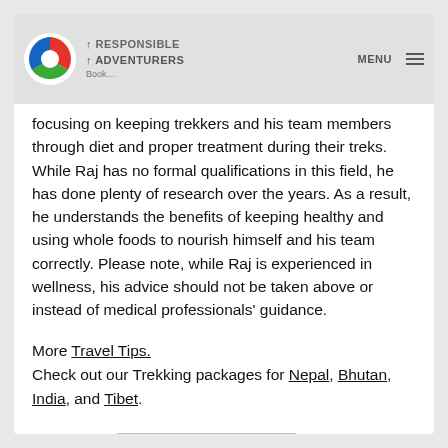RESPONSIBLE ADVENTURERS — MENU
focusing on keeping trekkers and his team members through diet and proper treatment during their treks. While Raj has no formal qualifications in this field, he has done plenty of research over the years. As a result, he understands the benefits of keeping healthy and using whole foods to nourish himself and his team correctly. Please note, while Raj is experienced in wellness, his advice should not be taken above or instead of medical professionals' guidance.
More Travel Tips.
Check out our Trekking packages for Nepal, Bhutan, India, and Tibet.
Posted in: WELLNESS AND LIFESTYLES